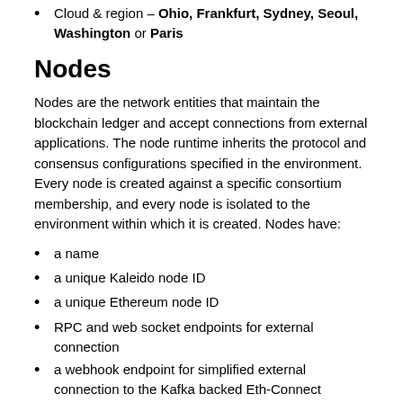Cloud & region – Ohio, Frankfurt, Sydney, Seoul, Washington or Paris
Nodes
Nodes are the network entities that maintain the blockchain ledger and accept connections from external applications. The node runtime inherits the protocol and consensus configurations specified in the environment. Every node is created against a specific consortium membership, and every node is isolated to the environment within which it is created. Nodes have:
a name
a unique Kaleido node ID
a unique Ethereum node ID
RPC and web socket endpoints for external connection
a webhook endpoint for simplified external connection to the Kafka backed Eth-Connect messaging layer